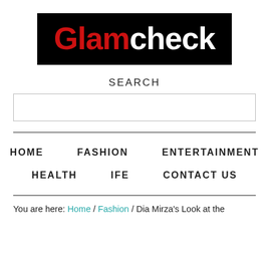[Figure (logo): Glamcheck logo: black background with 'Glam' in red bold text and 'check' in white bold text]
SEARCH
[search input box]
HOME   FASHION   ENTERTAINMENT
HEALTH   IFE   CONTACT US
You are here: Home / Fashion / Dia Mirza's Look at the